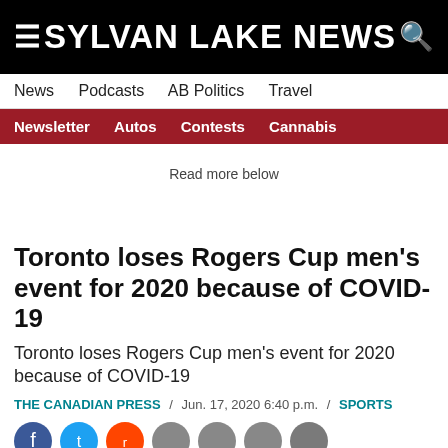SYLVAN LAKE NEWS
News  Podcasts  AB Politics  Travel
Newsletter  Autos  Contests  Cannabis
Read more below
Toronto loses Rogers Cup men’s event for 2020 because of COVID-19
Toronto loses Rogers Cup men’s event for 2020 because of COVID-19
THE CANADIAN PRESS / Jun. 17, 2020 6:40 p.m. / SPORTS